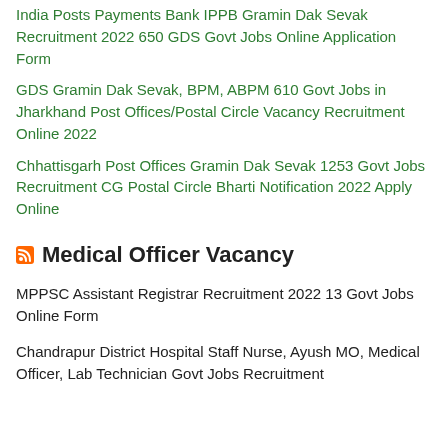India Posts Payments Bank IPPB Gramin Dak Sevak Recruitment 2022 650 GDS Govt Jobs Online Application Form
GDS Gramin Dak Sevak, BPM, ABPM 610 Govt Jobs in Jharkhand Post Offices/Postal Circle Vacancy Recruitment Online 2022
Chhattisgarh Post Offices Gramin Dak Sevak 1253 Govt Jobs Recruitment CG Postal Circle Bharti Notification 2022 Apply Online
Medical Officer Vacancy
MPPSC Assistant Registrar Recruitment 2022 13 Govt Jobs Online Form
Chandrapur District Hospital Staff Nurse, Ayush MO, Medical Officer, Lab Technician Govt Jobs Recruitment